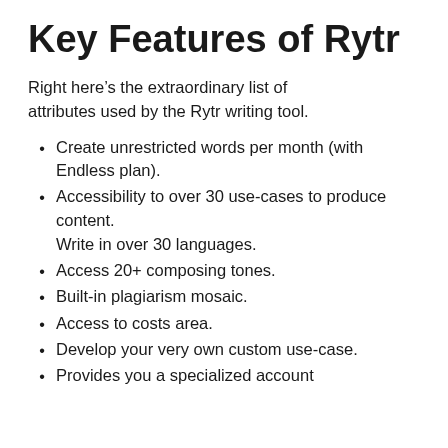Key Features of Rytr
Right here’s the extraordinary list of attributes used by the Rytr writing tool.
Create unrestricted words per month (with Endless plan).
Accessibility to over 30 use-cases to produce content. Write in over 30 languages.
Access 20+ composing tones.
Built-in plagiarism mosaic.
Access to costs area.
Develop your very own custom use-case.
Provides you a specialized account